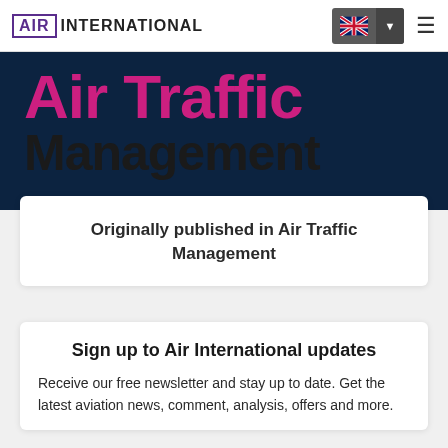[Figure (logo): Air International logo: 'AIR' in purple box followed by 'INTERNATIONAL' in black text]
[Figure (screenshot): Navigation bar with UK flag language selector and dropdown arrow, plus hamburger menu icon]
[Figure (illustration): Dark navy hero banner with 'Air Traffic' in magenta/pink bold text and 'Management' in black bold text below]
Originally published in Air Traffic Management
Sign up to Air International updates
Receive our free newsletter and stay up to date. Get the latest aviation news, comment, analysis, offers and more.